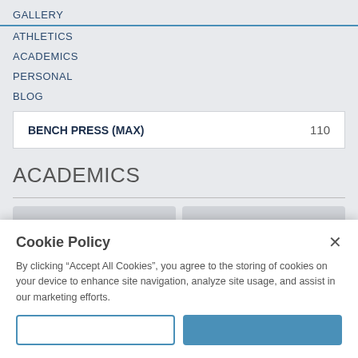GALLERY
ATHLETICS
ACADEMICS
PERSONAL
BLOG
| BENCH PRESS (MAX) | 110 |
| --- | --- |
ACADEMICS
Cookie Policy
By clicking “Accept All Cookies”, you agree to the storing of cookies on your device to enhance site navigation, analyze site usage, and assist in our marketing efforts.